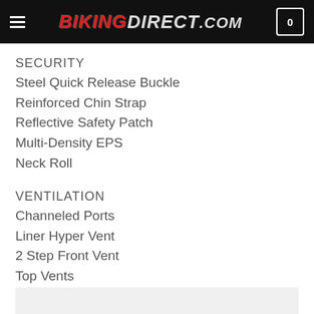BIKINGDIRECT.COM — navigation header with hamburger menu and cart
SECURITY
Steel Quick Release Buckle
Reinforced Chin Strap
Reflective Safety Patch
Multi-Density EPS
Neck Roll
VENTILATION
Channeled Ports
Liner Hyper Vent
2 Step Front Vent
Top Vents
Exhaust Port